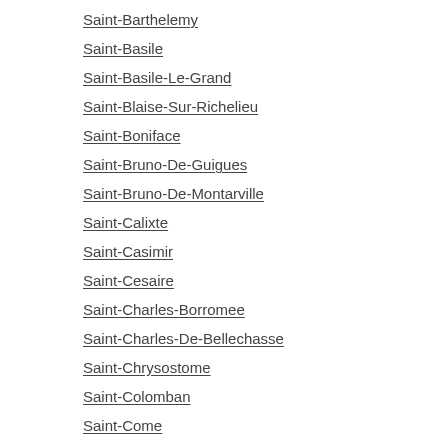Saint-Barnabe
Saint-Barthelemy
Saint-Basile
Saint-Basile-Le-Grand
Saint-Blaise-Sur-Richelieu
Saint-Boniface
Saint-Bruno-De-Guigues
Saint-Bruno-De-Montarville
Saint-Calixte
Saint-Casimir
Saint-Cesaire
Saint-Charles-Borromee
Saint-Charles-De-Bellechasse
Saint-Chrysostome
Saint-Colomban
Saint-Come